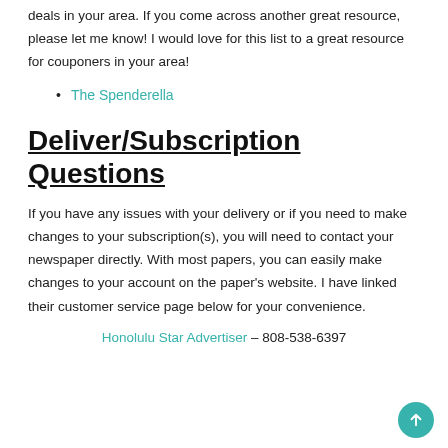deals in your area. If you come across another great resource, please let me know! I would love for this list to a great resource for couponers in your area!
The Spenderella
Deliver/Subscription Questions
If you have any issues with your delivery or if you need to make changes to your subscription(s), you will need to contact your newspaper directly. With most papers, you can easily make changes to your account on the paper's website. I have linked their customer service page below for your convenience.
Honolulu Star Advertiser – 808-538-6397